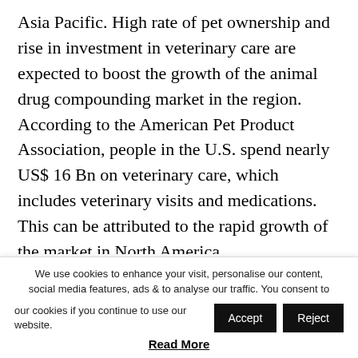Asia Pacific. High rate of pet ownership and rise in investment in veterinary care are expected to boost the growth of the animal drug compounding market in the region. According to the American Pet Product Association, people in the U.S. spend nearly US$ 16 Bn on veterinary care, which includes veterinary visits and medications. This can be attributed to the rapid growth of the market in North America.
Europe accounted for significant share of the global market in 2019. Increase in incidence of veterinary diseases in countries in Europe and rise in usage of antibiotic drugs for the treatment of veterinary disease are likely to fuel the growth of the animal drug
We use cookies to enhance your visit, personalise our content, social media features, ads & to analyse our traffic. You consent to our cookies if you continue to use our website.
Read More